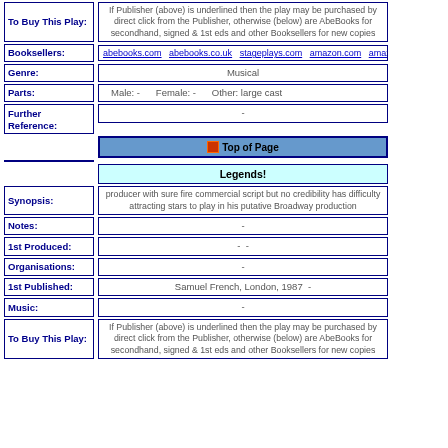To Buy This Play: If Publisher (above) is underlined then the play may be purchased by direct click from the Publisher, otherwise (below) are AbeBooks for secondhand, signed & 1st eds and other Booksellers for new copies
Booksellers: abebooks.com abebooks.co.uk stageplays.com amazon.com amazon.co.uk am...
Genre: Musical
Parts: Male: - Female: - Other: large cast
Further Reference: -
Top of Page
Legends!
Synopsis: producer with sure fire commercial script but no credibility has difficulty attracting stars to play in his putative Broadway production
Notes: -
1st Produced: - -
Organisations: -
1st Published: Samuel French, London, 1987 -
Music: -
To Buy This Play: If Publisher (above) is underlined then the play may be purchased by direct click from the Publisher, otherwise (below) are AbeBooks for secondhand, signed & 1st eds and other Booksellers for new copies